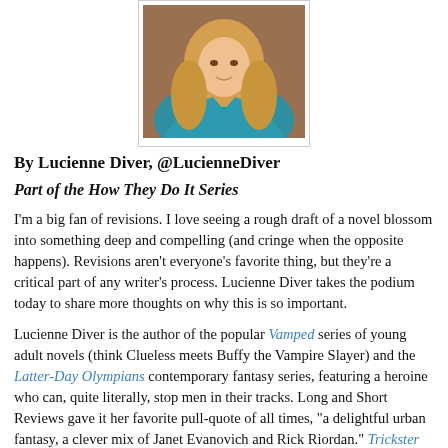[Figure (photo): Portrait photo of Lucienne Diver, a woman with long blonde hair wearing a teal/turquoise top, shown from shoulders up against a warm background.]
By Lucienne Diver, @LucienneDiver
Part of the How They Do It Series
I'm a big fan of revisions. I love seeing a rough draft of a novel blossom into something deep and compelling (and cringe when the opposite happens). Revisions aren't everyone's favorite thing, but they're a critical part of any writer's process. Lucienne Diver takes the podium today to share more thoughts on why this is so important.
Lucienne Diver is the author of the popular Vamped series of young adult novels (think Clueless meets Buffy the Vampire Slayer) and the Latter-Day Olympians contemporary fantasy series, featuring a heroine who can, quite literally, stop men in their tracks. Long and Short Reviews gave it her favorite pull-quote of all times, "a delightful urban fantasy, a clever mix of Janet Evanovich and Rick Riordan." Trickster Blood, a